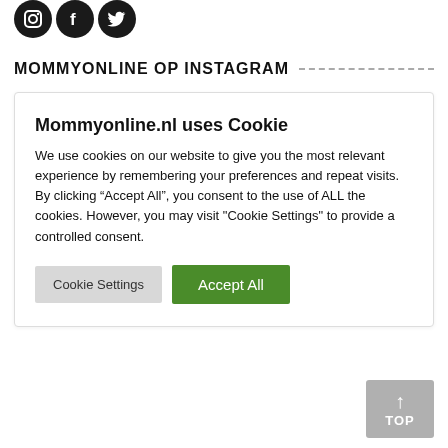[Figure (illustration): Three social media icons (Instagram, Facebook, Twitter) as black circles with white icons]
MOMMYONLINE OP INSTAGRAM
Mommyonline.nl uses Cookie
We use cookies on our website to give you the most relevant experience by remembering your preferences and repeat visits. By clicking “Accept All”, you consent to the use of ALL the cookies. However, you may visit "Cookie Settings" to provide a controlled consent.
Cookie Settings | Accept All
[Figure (illustration): Grey TOP button with upward arrow in bottom right corner]